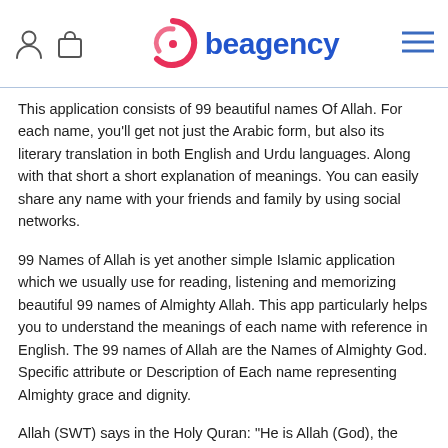beagency
This application consists of 99 beautiful names Of Allah. For each name, you'll get not just the Arabic form, but also its literary translation in both English and Urdu languages. Along with that short a short explanation of meanings. You can easily share any name with your friends and family by using social networks.
99 Names of Allah is yet another simple Islamic application which we usually use for reading, listening and memorizing beautiful 99 names of Almighty Allah. This app particularly helps you to understand the meanings of each name with reference in English. The 99 names of Allah are the Names of Almighty God. Specific attribute or Description of Each name representing Almighty grace and dignity.
Allah (SWT) says in the Holy Quran: "He is Allah (God), the Creator, the Originator, The Fashioner, to Him belong the most beautiful names: whatever is in the heavens and on earth, do declare His praises and Glory. And He is the Exalted in Might, The Wise." [Quran 59:24]